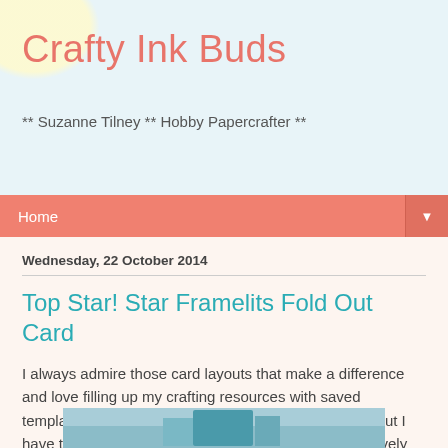Crafty Ink Buds
** Suzanne Tilney ** Hobby Papercrafter **
Home
Wednesday, 22 October 2014
Top Star! Star Framelits Fold Out Card
I always admire those card layouts that make a difference and love filling up my crafting resources with saved templates and measurements to try. This card is a layout I have tried before, but never on this scale!  It was my lovely hubby's birthday yesterday and it was a BIG one so I needed a BIG card.
[Figure (photo): Bottom edge of a card/craft photo, teal/blue colors visible]